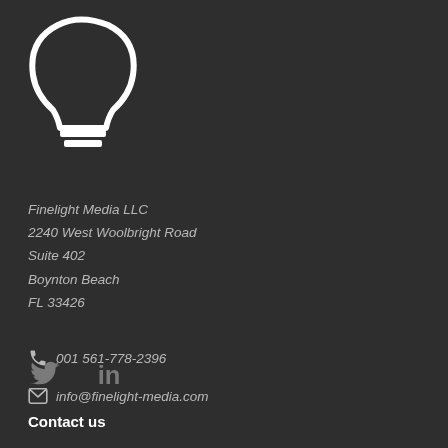[Figure (logo): Finelight Media LLC logo — white stylized light bulb/lamp icon in top-left corner]
Finelight Media LLC
2240 West Woolbright Road
Suite 402
Boynton Beach
FL 33426
📞 001 561-778-2396
✉ info@finelight-media.com
[Figure (other): Twitter bird icon and LinkedIn 'in' icon side by side]
Contact us